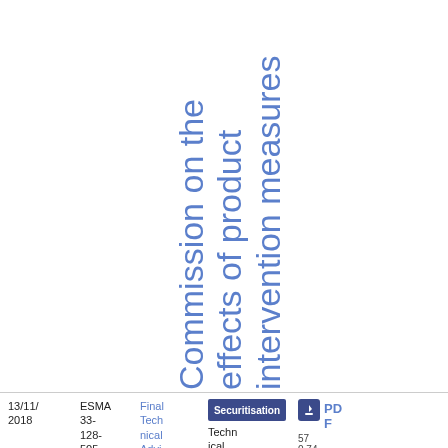Commission on the effects of product intervention measures
13/11/2018
ESMA 33-128-505
Final Technical Advice
Securitisation
Technical Advice
PDF 57 0.74 KB